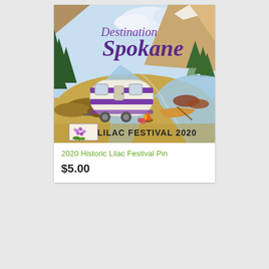[Figure (illustration): Watercolor-style illustration of a camping scene with 'Destination Spokane' text, a white and purple striped camper trailer, a canoe on a river, evergreen trees, mountains in the background, a campfire, and 'LILAC FESTIVAL 2020' text with a lilac flower logo at the bottom.]
2020 Historic Lilac Festival Pin
$5.00